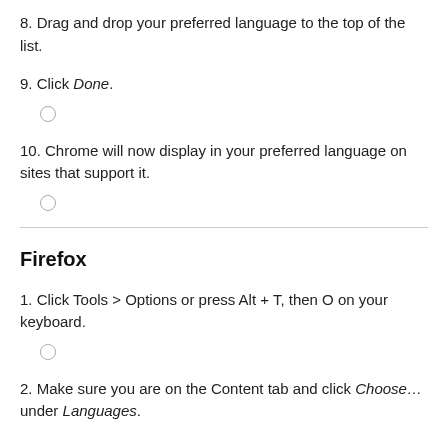8. Drag and drop your preferred language to the top of the list.
9. Click Done.
10. Chrome will now display in your preferred language on sites that support it.
Firefox
1. Click Tools > Options or press Alt + T, then O on your keyboard.
2. Make sure you are on the Content tab and click Choose… under Languages.